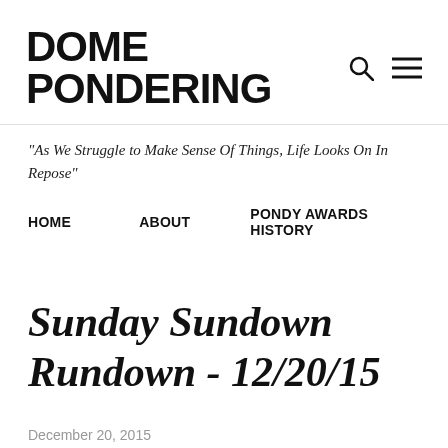DOME PONDERING
"As We Struggle to Make Sense Of Things, Life Looks On In Repose"
HOME
ABOUT
PONDY AWARDS HISTORY
Sunday Sundown Rundown - 12/20/15
December 20, 2015